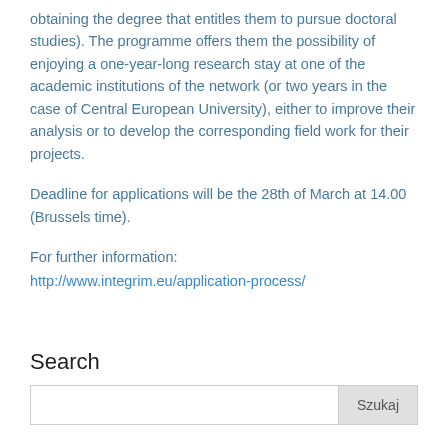obtaining the degree that entitles them to pursue doctoral studies). The programme offers them the possibility of enjoying a one-year-long research stay at one of the academic institutions of the network (or two years in the case of Central European University), either to improve their analysis or to develop the corresponding field work for their projects.
Deadline for applications will be the 28th of March at 14.00 (Brussels time).
For further information:
http://www.integrim.eu/application-process/
Search